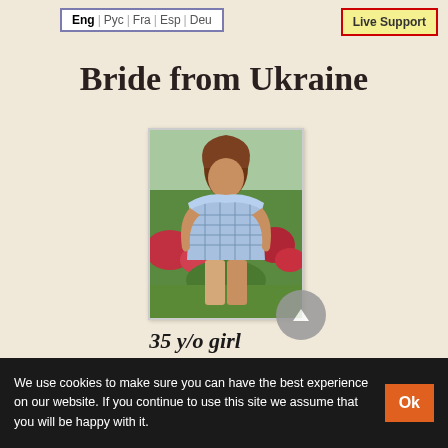Eng | Рус | Fra | Esp | Deu
Live Support
Bride from Ukraine
[Figure (photo): A young woman in a blue checkered off-shoulder dress posing outdoors in a garden with red flowers and green foliage in the background.]
35 y/o girl
We use cookies to make sure you can have the best experience on our website. If you continue to use this site we assume that you will be happy with it.